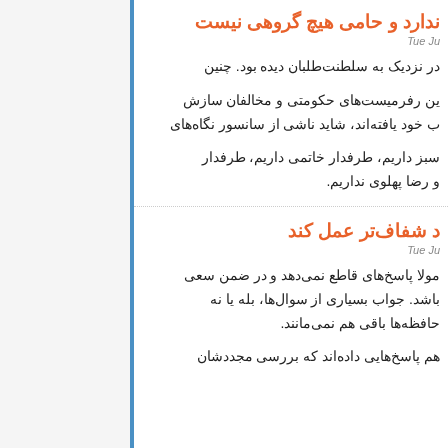ندارد و حامی هیچ گروهی نیست
Tue Ju
در نزدیک به سلطنت‌طلبان دیده بود. چنین
ین رفرمیست‌های حکومتی و مخالفان سازش
ب خود یافته‌اند، شاید ناشی از سانسور نگاه‌های
سبز داریم، طرفدار خاتمی داریم، طرفدار
و رضا پهلوی نداریم.
د شفاف‌تر عمل کند
Tue Ju
مولا پاسخ‌های قاطع نمی‌دهد و در ضمن سعی
باشد. جواب بسیاری از سوال‌ها، بله یا نه
حافظه‌ها باقی هم نمی‌مانند.
هم پاسخ‌هایی داده‌اند که بررسی مجددشان